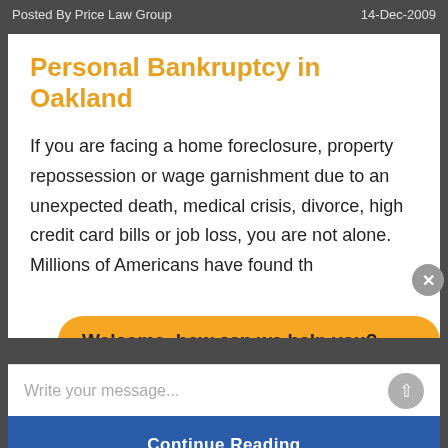Posted By Price Law Group    14-Dec-2009
Personal Bankruptcy in Oakland
If you are facing a home foreclosure, property repossession or wage garnishment due to an unexpected death, medical crisis, divorce, high credit card bills or job loss, you are not alone. Millions of Americans have found th…
Welcome, how can we help you?
Write your message...
Continue Reading